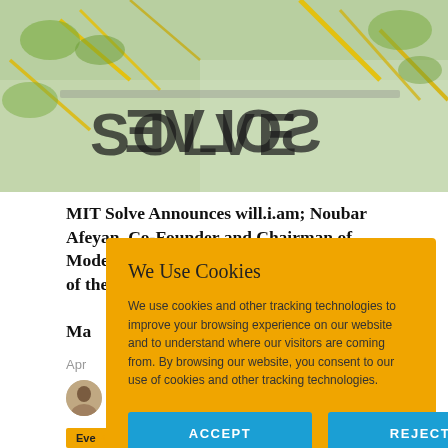[Figure (photo): Hero image showing the MIT Solve logo reflected/displayed on a glass surface with yellow geometric lines and green foliage visible]
MIT Solve Announces will.i.am; Noubar Afeyan, Co-Founder and Chairman of Moderna; and Gitanjali Rao, TIME's Kid of the Year as Judges for the 2021 Solve Challenge Finals in May
Apr ...
[Figure (photo): Author avatar portrait photo]
Eve...
We Use Cookies
We use cookies and other tracking technologies to improve your browsing experience on our website and to understand where our visitors are coming from. By browsing our website, you consent to our use of cookies and other tracking technologies.
ACCEPT
REJECT